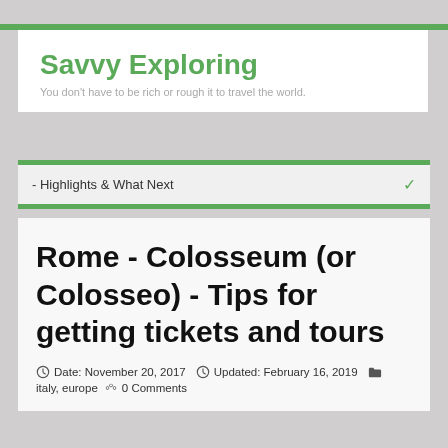Savvy Exploring
You don't have to be rich or rough it to travel the world.
- Highlights & What Next
Rome - Colosseum (or Colosseo) - Tips for getting tickets and tours
Date: November 20, 2017   Updated: February 16, 2019